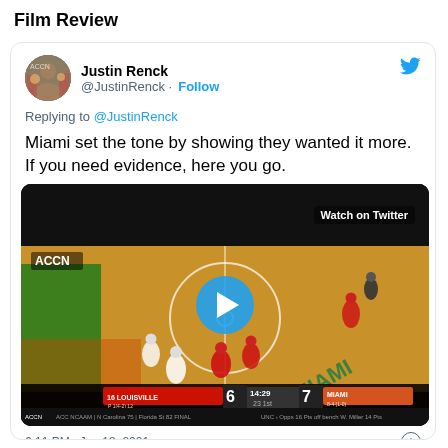Film Review
Justin Renck @JustinRenck · Follow
Replying to @JustinRenck
Miami set the tone by showing they wanted it more. If you need evidence, here you go.
[Figure (screenshot): Video thumbnail of a basketball game between Louisville and Miami on ACCN, showing players on the court. Score shows Louisville 6, Miami 7 at 14:29 in the 1st. A blue play button circle overlaid in center. 'Watch on Twitter' text in top right.]
6:11 PM · Jan 18, 2021